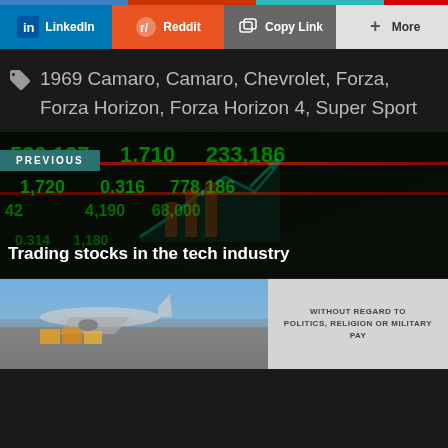[Figure (screenshot): Social sharing buttons bar: LinkedIn (blue), Reddit (orange), Copy Link (gray), More (light gray)]
1969 Camaro, Camaro, Chevrolet, Forza, Forza Horizon, Forza Horizon 4, Super Sport
[Figure (photo): Previous article link with stock market ticker board background showing green numbers, with label PREVIOUS and title 'Trading stocks in the tech industry']
[Figure (photo): Advertisement banner showing cargo airplane being loaded at airport, with text WITHOUT REGARD TO POLITICS, RELIGION OR MILITARY PAY]